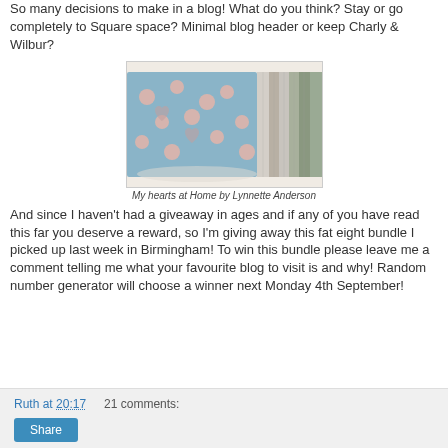So many decisions to make in a blog!  What do you think?  Stay or go completely to Square space?  Minimal blog header or keep Charly & Wilbur?
[Figure (photo): A fat eight fabric bundle featuring blue floral and heart patterned fabric alongside various neutral and sage green fabrics, fanned out on a white surface.]
My hearts at Home by Lynnette Anderson
And since I haven't had a giveaway in ages and if any of you have read this far you deserve a reward, so I'm giving away this fat eight bundle I picked up last week in Birmingham!  To win this bundle please leave me a comment telling me what your favourite blog to visit is and why!  Random number generator will choose a winner next Monday 4th September!
Ruth at 20:17    21 comments:
Share